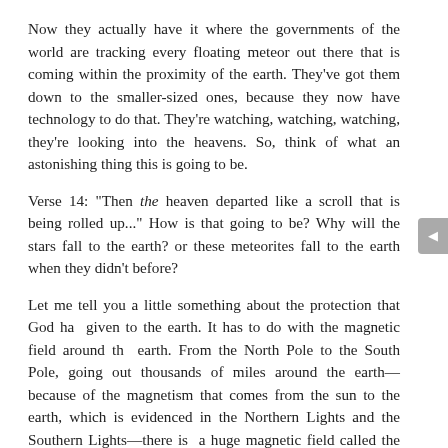Now they actually have it where the governments of the world are tracking every floating meteor out there that is coming within the proximity of the earth. They've got them down to the smaller-sized ones, because they now have technology to do that. They're watching, watching, watching, they're looking into the heavens. So, think of what an astonishing thing this is going to be.
Verse 14: "Then the heaven departed like a scroll that is being rolled up..." How is that going to be? Why will the stars fall to the earth? or these meteorites fall to the earth when they didn't before?
Let me tell you a little something about the protection that God has given to the earth. It has to do with the magnetic field around the earth. From the North Pole to the South Pole, going out thousands of miles around the earth—because of the magnetism that comes from the sun to the earth, which is evidenced in the Northern Lights and the Southern Lights—there is a huge magnetic field called the Van Allen Belt. This Van Allen Belt protects the earth from radiation from outer-space and repels 99% of all of the meteorites that would come into the earth. What's going to happen when the 'heavens are departed as a scroll'? Is God going to reduce that magnetic belt to where the heavens actually, as we view them, would change? God is then going to reveal something that He hasn't revealed to human beings except just in a couple of cases, that there is an angelic and spiritual realm out there that is invisible to the human eye, unless